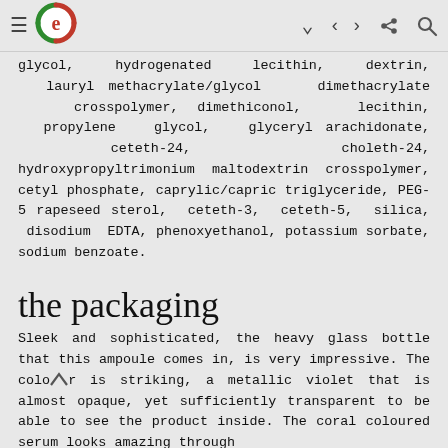≡ e (logo) ∨ ⋮ 🔍
glycol, hydrogenated lecithin, dextrin, lauryl methacrylate/glycol dimethacrylate crosspolymer, dimethiconol, lecithin, propylene glycol, glyceryl arachidonate, ceteth-24, choleth-24, hydroxypropyltrimonium maltodextrin crosspolymer, cetyl phosphate, caprylic/capric triglyceride, PEG-5 rapeseed sterol, ceteth-3, ceteth-5, silica, disodium EDTA, phenoxyethanol, potassium sorbate, sodium benzoate.
the packaging
Sleek and sophisticated, the heavy glass bottle that this ampoule comes in, is very impressive. The colour is striking, a metallic violet that is almost opaque, yet sufficiently transparent to be able to see the product inside. The coral coloured serum looks amazing through